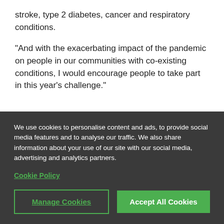stroke, type 2 diabetes, cancer and respiratory conditions.
"And with the exacerbating impact of the pandemic on people in our communities with co-existing conditions, I would encourage people to take part in this year's challenge."
Visit the challenge website for details on how
We use cookies to personalise content and ads, to provide social media features and to analyse our traffic. We also share information about your use of our site with our social media, advertising and analytics partners.
Cookie Policy
Manage Cookies
Accept All Cookies